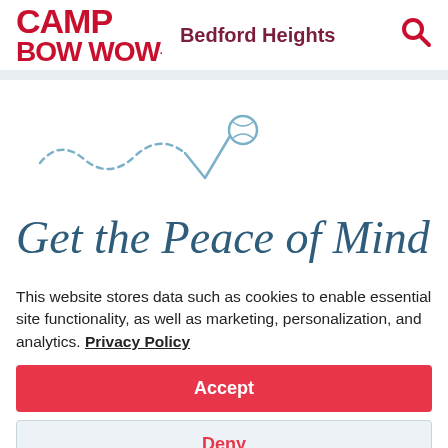[Figure (logo): Camp Bow Wow logo in red bold text with 'CAMP' on top line and 'BOW WOW.' on bottom line]
Bedford Heights
[Figure (illustration): Decorative hand-drawn blue squiggly line with a small ball/circle icon, part of Camp Bow Wow branding]
Get the Peace of Mind
This website stores data such as cookies to enable essential site functionality, as well as marketing, personalization, and analytics. Privacy Policy
Accept
Deny